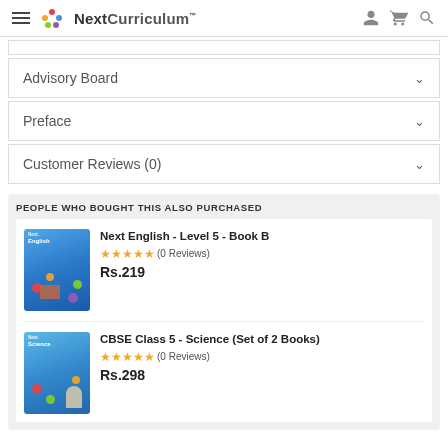Next Curriculum — navigation header with hamburger, logo, user, cart, search icons
Advisory Board
Preface
Customer Reviews (0)
PEOPLE WHO BOUGHT THIS ALSO PURCHASED
Next English - Level 5 - Book B
☆☆☆☆☆(0 Reviews)
Rs.219
CBSE Class 5 - Science (Set of 2 Books)
☆☆☆☆☆(0 Reviews)
Rs.298